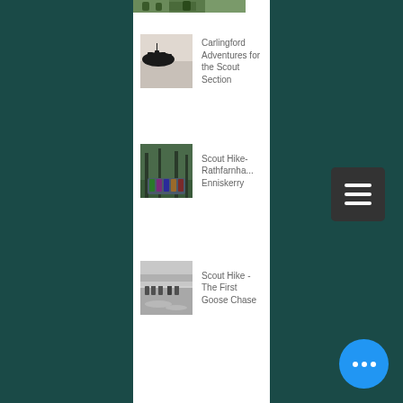[Figure (photo): Partial thumbnail of an outdoor/nature image at the top of the list, cropped]
Carlingford Adventures for the Scout Section
[Figure (photo): Silhouette of group of people on rocks/hilltop against bright sky]
Scout Hike- Rathfarnha... Enniskerry
[Figure (photo): Group of scouts in colorful jackets walking in a forest path]
Scout Hike - The First Goose Chase
[Figure (photo): Black and white image of people near water/river]